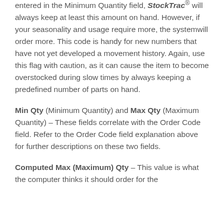entered in the Minimum Quantity field, StockTrac® will always keep at least this amount on hand. However, if your seasonality and usage require more, the systemwill order more. This code is handy for new numbers that have not yet developed a movement history. Again, use this flag with caution, as it can cause the item to become overstocked during slow times by always keeping a predefined number of parts on hand.
Min Qty (Minimum Quantity) and Max Qty (Maximum Quantity) – These fields correlate with the Order Code field. Refer to the Order Code field explanation above for further descriptions on these two fields.
Computed Max (Maximum) Qty – This value is what the computer thinks it should order for the